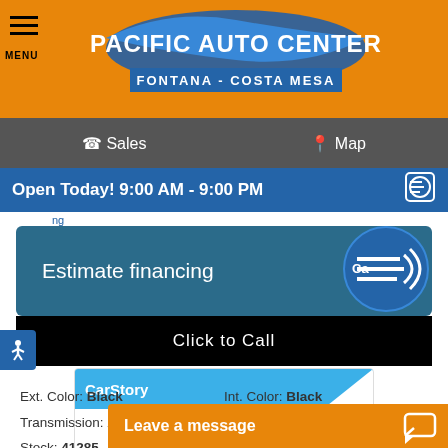[Figure (logo): Pacific Auto Center logo with swoosh graphic, Fontana - Costa Mesa tagline on orange header bar]
MENU | Sales | Map
Open Today! 9:00 AM - 9:00 PM
Estimate financing
Click to Call
[Figure (logo): CarStory logo with blue header and triangle cutout. Text: This vehicle is a GREAT DEAL]
Ext. Color: Black
Transmission: Automatic
Stock: 41285
Engine: 5 Cylinders
VIN WUABWGFF0KA...
Int. Color: Black
Mileage: 28,935
Drivetrain: AWD
Leave a message